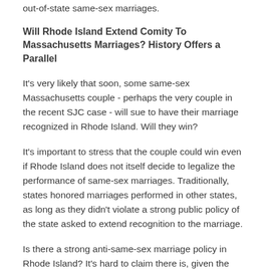out-of-state same-sex marriages.
Will Rhode Island Extend Comity To Massachusetts Marriages? History Offers a Parallel
It's very likely that soon, some same-sex Massachusetts couple - perhaps the very couple in the recent SJC case - will sue to have their marriage recognized in Rhode Island. Will they win?
It's important to stress that the couple could win even if Rhode Island does not itself decide to legalize the performance of same-sex marriages. Traditionally, states honored marriages performed in other states, as long as they didn't violate a strong public policy of the state asked to extend recognition to the marriage.
Is there a strong anti-same-sex marriage policy in Rhode Island? It's hard to claim there is, given the lack of any positive law banning same-sex marriage or any overt